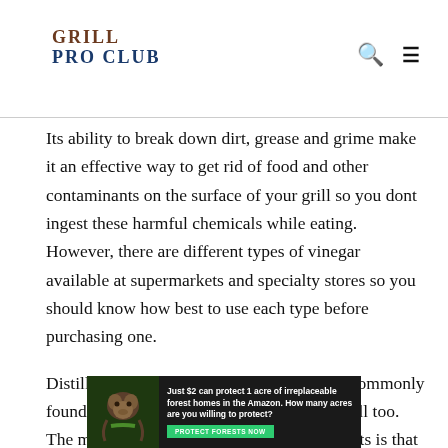GRILL PRO CLUB
Its ability to break down dirt, grease and grime make it an effective way to get rid of food and other contaminants on the surface of your grill so you dont ingest these harmful chemicals while eating. However, there are different types of vinegar available at supermarkets and specialty stores so you should know how best to use each type before purchasing one.
Distilled white vinegar is perhaps the most commonly found type but apple cider vinegar works well too. The main difference between the two products is that distilled white vinegar has a more concentrated strength while apple cider vinegar is milder.
[Figure (other): Advertisement banner: 'Just $2 can protect 1 acre of irreplaceable forest homes in the Amazon. How many acres are you willing to protect?' with a green PROTECT FORESTS NOW button and an image of a sloth on a dark background.]